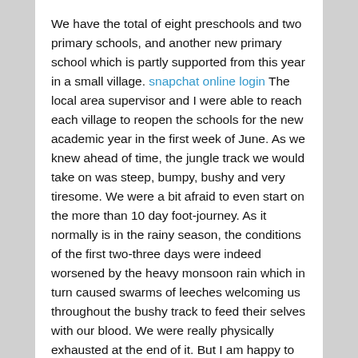We have the total of eight preschools and two primary schools, and another new primary school which is partly supported from this year in a small village. snapchat online login The local area supervisor and I were able to reach each village to reopen the schools for the new academic year in the first week of June. As we knew ahead of time, the jungle track we would take on was steep, bumpy, bushy and very tiresome. We were a bit afraid to even start on the more than 10 day foot-journey. As it normally is in the rainy season, the conditions of the first two-three days were indeed worsened by the heavy monsoon rain which in turn caused swarms of leeches welcoming us throughout the bushy track to feed their selves with our blood. We were really physically exhausted at the end of it. But I am happy to say this: the pure, cordial and genuine fellowship of each villager, their warm company throughout our trip, their thankful and blessing words, and their simple but honest and heart-felt hospitalities and entertainments were more than enough to redeem our physical exhaustion. It is really difficult to find adequate words to relate the joy and happiness they...